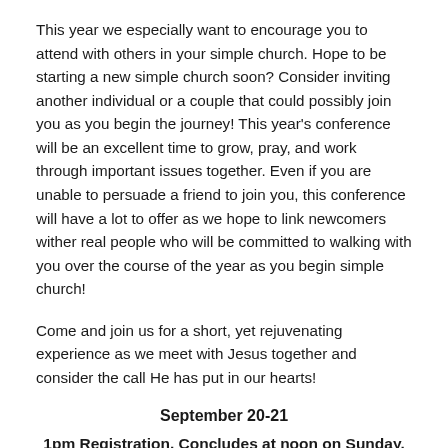This year we especially want to encourage you to attend with others in your simple church. Hope to be starting a new simple church soon? Consider inviting another individual or a couple that could possibly join you as you begin the journey! This year's conference will be an excellent time to grow, pray, and work through important issues together. Even if you are unable to persuade a friend to join you, this conference will have a lot to offer as we hope to link newcomers wither real people who will be committed to walking with you over the course of the year as you begin simple church!
Come and join us for a short, yet rejuvenating experience as we meet with Jesus together and consider the call He has put in our hearts!
September 20-21
1pm Registration, Concludes at noon on Sunday.
Asbury Inn